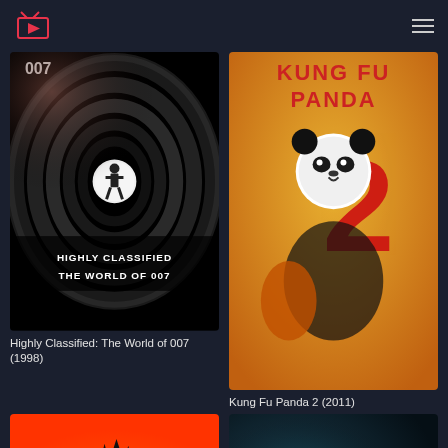Streaming app header with logo and hamburger menu
[Figure (screenshot): Movie poster for Highly Classified: The World of 007 (1998) - black and white gun barrel silhouette image with text 'HIGHLY CLASSIFIED THE WORLD OF 007']
Highly Classified: The World of 007 (1998)
[Figure (screenshot): Movie poster for Kung Fu Panda 2 (2011) - animated panda with Kung Fu Panda 2 title in yellow/red]
Kung Fu Panda 2 (2011)
[Figure (screenshot): Movie poster (bottom left) - animated villain character on orange background]
[Figure (screenshot): Movie poster (bottom right) - dark action movie with person and teal lighting]